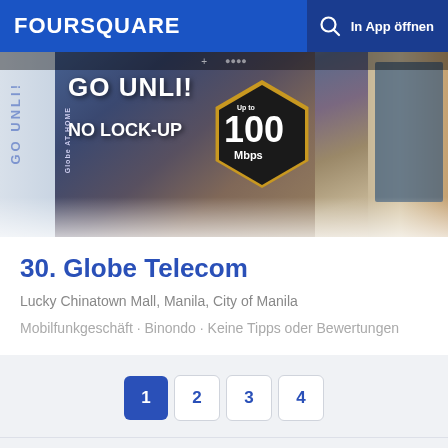FOURSQUARE  In App öffnen
[Figure (photo): Photo of Globe Telecom brochures/promotional materials on a table, showing 'GO UNLI! NO LOCK-UP' and 'Up to 100 Mbps' badge]
30. Globe Telecom
Lucky Chinatown Mall, Manila, City of Manila
Mobilfunkgeschäft · Binondo · Keine Tipps oder Bewertungen
1  2  3  4
Foursquare © 2022   Desktop  Einloggen  Deutsch